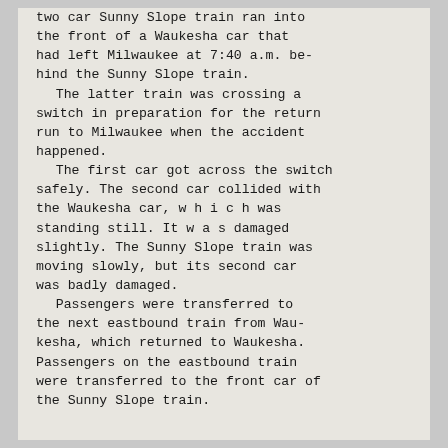two car Sunny Slope train ran into the front of a Waukesha car that had left Milwaukee at 7:40 a.m. behind the Sunny Slope train. The latter train was crossing a switch in preparation for the return run to Milwaukee when the accident happened. The first car got across the switch safely. The second car collided with the Waukesha car, which was standing still. It was damaged slightly. The Sunny Slope train was moving slowly, but its second car was badly damaged. Passengers were transferred to the next eastbound train from Waukesha, which returned to Waukesha. Passengers on the eastbound train were transferred to the front car of the Sunny Slope train.